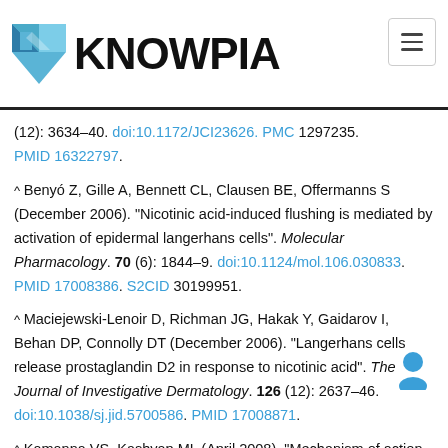KNOWPIA
(12): 3634–40. doi:10.1172/JCI23626. PMC 1297235. PMID 16322797.
^ Benyó Z, Gille A, Bennett CL, Clausen BE, Offermanns S (December 2006). "Nicotinic acid-induced flushing is mediated by activation of epidermal langerhans cells". Molecular Pharmacology. 70 (6): 1844–9. doi:10.1124/mol.106.030833. PMID 17008386. S2CID 30199951.
^ Maciejewski-Lenoir D, Richman JG, Hakak Y, Gaidarov I, Behan DP, Connolly DT (December 2006). "Langerhans cells release prostaglandin D2 in response to nicotinic acid". The Journal of Investigative Dermatology. 126 (12): 2637–46. doi:10.1038/sj.jid.5700586. PMID 17008871.
^ Kamanna VS, Kashyap ML (April 2008). "Mechanism of action of niacin". The American Journal of Cardiology. 101